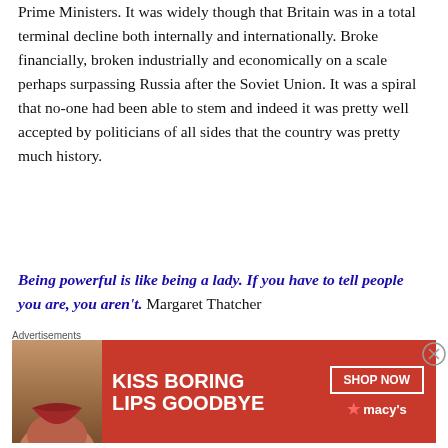Prime Ministers. It was widely though that Britain was in a total terminal decline both internally and internationally. Broke financially, broken industrially and economically on a scale perhaps surpassing Russia after the Soviet Union. It was a spiral that no-one had been able to stem and indeed it was pretty well accepted by politicians of all sides that the country was pretty much history.
Being powerful is like being a lady. If you have to tell people you are, you aren't. Margaret Thatcher
She was never a gifted orator as so many British politicians and Prime Ministers are. She couldn't inspire like Churchill and smooth talk like Blair but she had
Advertisements
[Figure (photo): Macy's advertisement banner with red background, lipstick promotion text 'KISS BORING LIPS GOODBYE', SHOP NOW button, and Macy's star logo]